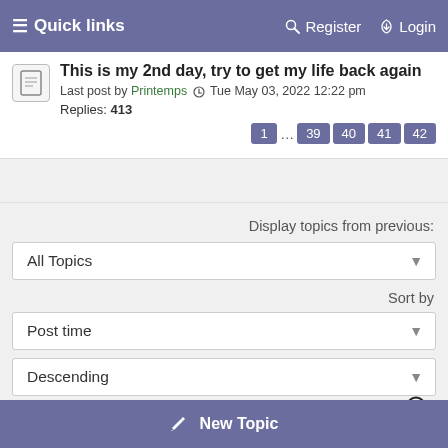≡ Quick links   🔑 Register   ⏻ Login
This is my 2nd day, try to get my life back again
Last post by Printemps  Tue May 03, 2022 12:22 pm
Replies: 413
Display topics from previous:
All Topics
Sort by
Post time
Descending
New Topic